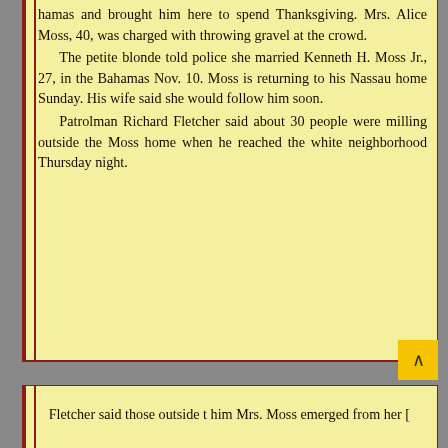hamas and brought him here to spend Thanksgiving. Mrs. Alice Moss, 40, was charged with throwing gravel at the crowd.
	The petite blonde told police she married Kenneth H. Moss Jr., 27, in the Bahamas Nov. 10. Moss is returning to his Nassau home Sunday. His wife said she would follow him soon.
	Patrolman Richard Fletcher said about 30 people were milling outside the Moss home when he reached the white neighborhood Thursday night.
Fletcher said those outside t him Mrs. Moss emerged from her [